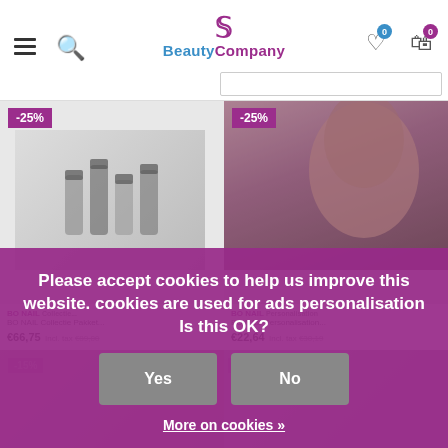[Figure (screenshot): BeautyCompany website header with hamburger menu, search icon, logo, wishlist and cart icons]
[Figure (screenshot): Product grid showing nail products with -25% discount badges on left and right products]
Please accept cookies to help us improve this website. cookies are used for ads personalisation Is this OK?
Yes
No
More on cookies »